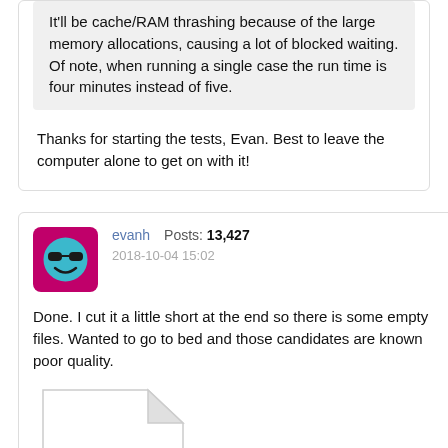It'll be cache/RAM thrashing because of the large memory allocations, causing a lot of blocked waiting. Of note, when running a single case the run time is four minutes instead of five.
Thanks for starting the tests, Evan. Best to leave the computer alone to get on with it!
evanh   Posts: 13,427
2018-10-04 15:02
Done. I cut it a little short at the end so there is some empty files. Wanted to go to bed and those candidates are known poor quality.
[Figure (illustration): Empty file icon — white page with folded top-right corner]